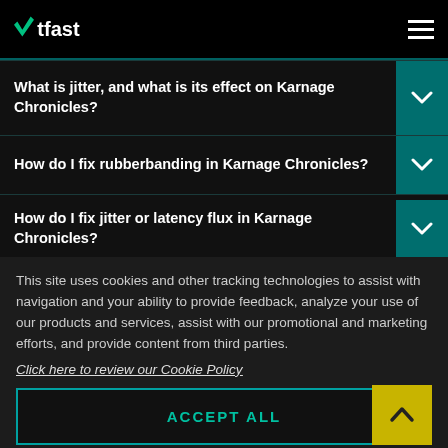WTFast
What is jitter, and what is its effect on Karnage Chronicles?
How do I fix rubberbanding in Karnage Chronicles?
How do I fix jitter or latency flux in Karnage Chronicles?
This site uses cookies and other tracking technologies to assist with navigation and your ability to provide feedback, analyze your use of our products and services, assist with our promotional and marketing efforts, and provide content from third parties.
Click here to review our Cookie Policy
ACCEPT ALL
Accept mandatory and performance